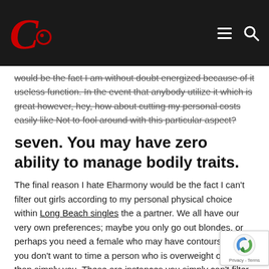C [logo with navigation menu and search icons]
would be the fact I am without doubt energized because of it useless function. In the event that anybody utilize it which is great however, hey, how about cutting my personal costs easily like Not to fool around with this particular aspect?
seven. You may have zero ability to manage bodily traits.
The final reason I hate Eharmony would be the fact I can't filter out girls according to my personal physical choice within Long Beach singles the a partner. We all have our very own preferences; maybe you only go out blondes, or perhaps you need a female who may have contours. Maybe you don't want to time a person who is overweight or high than simply you. These are instances you simply can't filter in Eharmony when you choose a partner through their site, and it really...